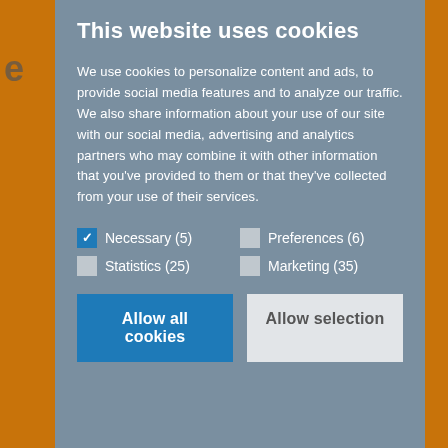This website uses cookies
We use cookies to personalize content and ads, to provide social media features and to analyze our traffic. We also share information about your use of our site with our social media, advertising and analytics partners who may combine it with other information that you’ve provided to them or that they’ve collected from your use of their services.
Necessary (5)
Preferences (6)
Statistics (25)
Marketing (35)
Allow all cookies
Allow selection